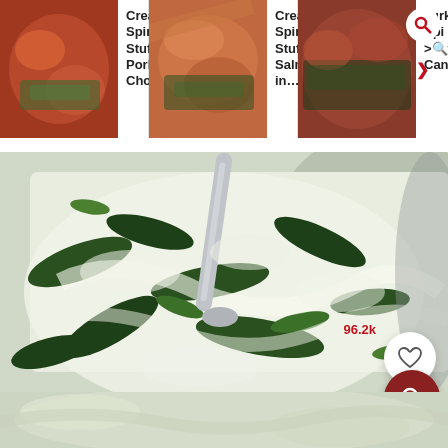[Figure (screenshot): Recipe card thumbnail: Creamed Spinach Stuffed Pork Chops - food photo with text]
Creamed Spinach Stuffed Pork Chops
[Figure (screenshot): Recipe card thumbnail: Creamy Spinach Stuffed Salmon in... - food photo with text]
Creamy Spinach Stuffed Salmon in...
[Figure (screenshot): Recipe card thumbnail: Turkey, Spi... and Ro...tta Cannelloni - food photo with text]
Turkey, Spi... and Ro...tta Cannelloni
[Figure (photo): Large close-up food photo of creamed spinach in a pan with a spoon, showing dark green wilted spinach leaves mixed with white creamy sauce in a metal pan]
96.2k
[Figure (illustration): Bottom partial view of another creamed spinach or similar food photo]